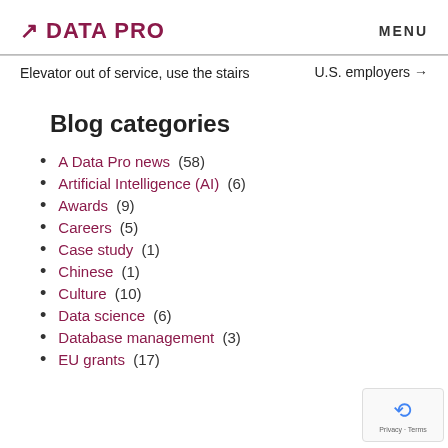A DATA PRO   MENU
Elevator out of service, use the stairs
U.S. employers →
Blog categories
A Data Pro news (58)
Artificial Intelligence (AI) (6)
Awards (9)
Careers (5)
Case study (1)
Chinese (1)
Culture (10)
Data science (6)
Database management (3)
EU grants (17)